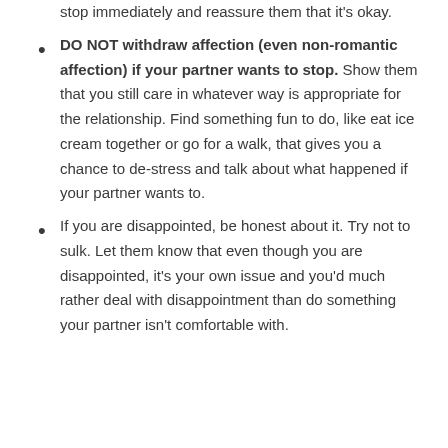stop immediately and reassure them that it's okay.
DO NOT withdraw affection (even non-romantic affection) if your partner wants to stop. Show them that you still care in whatever way is appropriate for the relationship. Find something fun to do, like eat ice cream together or go for a walk, that gives you a chance to de-stress and talk about what happened if your partner wants to.
If you are disappointed, be honest about it. Try not to sulk. Let them know that even though you are disappointed, it's your own issue and you'd much rather deal with disappointment than do something your partner isn't comfortable with.